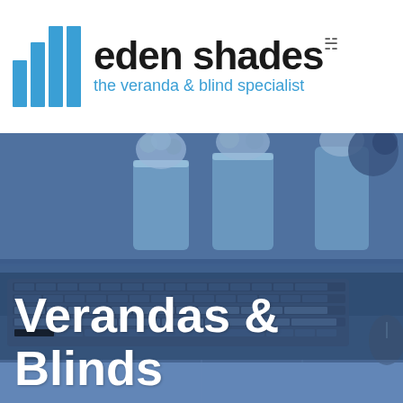[Figure (logo): Eden Shades logo with four vertical blue bars of graduated height and the text 'eden shades' in bold black with tagline 'the veranda & blind specialist' in blue]
[Figure (photo): Blue-tinted photo showing a table with flower vases on top and a laptop keyboard in the foreground]
Verandas & Blinds